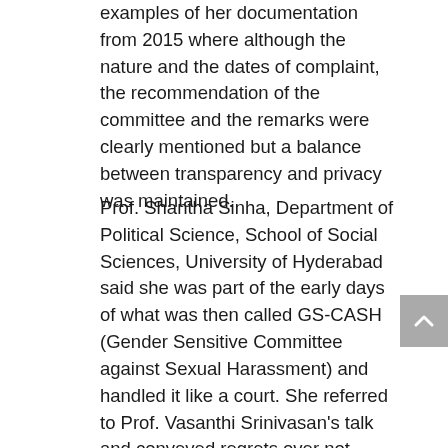examples of her documentation from 2015 where although the nature and the dates of complaint, the recommendation of the committee and the remarks were clearly mentioned but a balance between transparency and privacy was maintained.
Prof. Shantha Sinha, Department of Political Science, School of Social Sciences, University of Hyderabad said she was part of the early days of what was then called GS-CASH (Gender Sensitive Committee against Sexual Harassment) and handled it like a court. She referred to Prof. Vasanthi Srinivasan's talk and conveyed regrets over not dealing with it in a more nuanced manner.